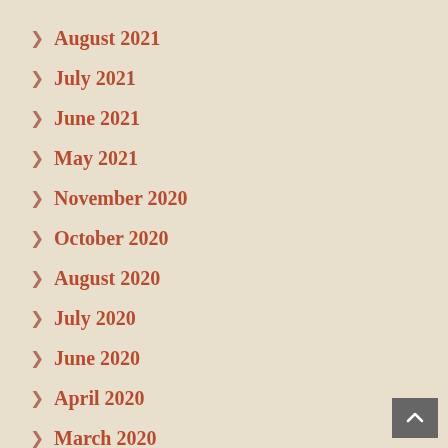> August 2021
> July 2021
> June 2021
> May 2021
> November 2020
> October 2020
> August 2020
> July 2020
> June 2020
> April 2020
> March 2020
> February 2020
> January 2020